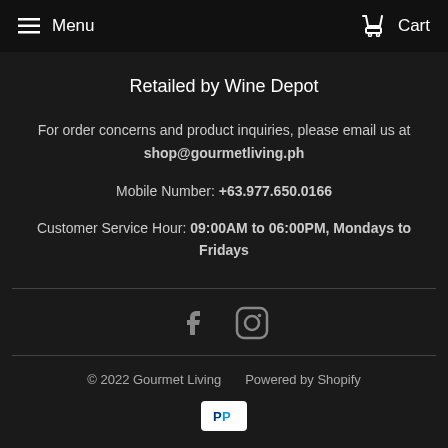Menu  Cart
Retailed by Wine Depot
For order concerns and product inquiries, please email us at shop@gourmetliving.ph
Mobile Number: +63.977.650.0166
Customer Service Hour: 09:00AM to 06:00PM, Mondays to Fridays
[Figure (other): Facebook and Instagram social media icons]
© 2022 Gourmet Living  Powered by Shopify
[Figure (logo): PayPal payment icon]